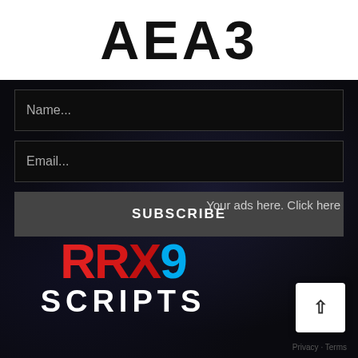AEA3
Name...
Email...
SUBSCRIBE
Your ads here. Click here
[Figure (logo): RRX9 SCRIPTS logo with RRX in red, 9 in cyan/blue, SCRIPTS in white bold text]
Privacy · Terms